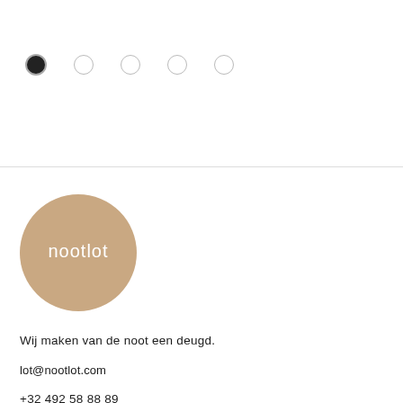[Figure (other): Navigation dot indicators: first dot filled/active (black), four subsequent dots empty (light grey outlines)]
[Figure (logo): Nootlot logo: circular tan/beige background with white lowercase text 'nootlot' in the center]
Wij maken van de noot een deugd.
lot@nootlot.com
+32 492 58 88 89